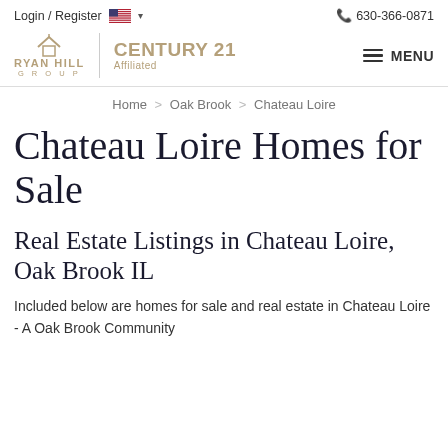Login / Register  630-366-0871
[Figure (logo): Ryan Hill Group | Century 21 Affiliated logo with navigation menu button]
Home > Oak Brook > Chateau Loire
Chateau Loire Homes for Sale
Real Estate Listings in Chateau Loire, Oak Brook IL
Included below are homes for sale and real estate in Chateau Loire - A Oak Brook Community